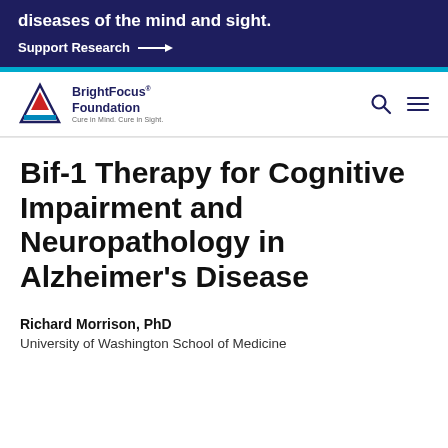diseases of the mind and sight.
Support Research →
[Figure (logo): BrightFocus Foundation logo with triangle graphic, tagline: Cure in Mind. Cure in Sight.]
Bif-1 Therapy for Cognitive Impairment and Neuropathology in Alzheimer's Disease
Richard Morrison, PhD
University of Washington School of Medicine